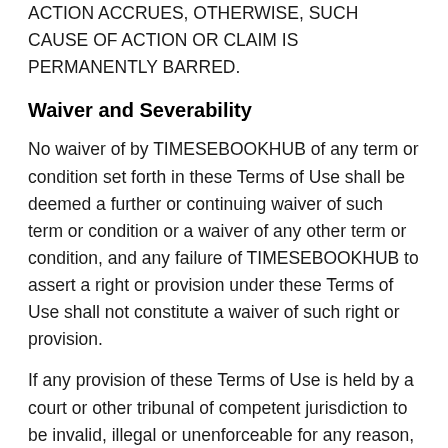WITHIN ONE (1) YEAR AFTER THE CAUSE OF ACTION ACCRUES, OTHERWISE, SUCH CAUSE OF ACTION OR CLAIM IS PERMANENTLY BARRED.
Waiver and Severability
No waiver of by TIMESEBOOKHUB of any term or condition set forth in these Terms of Use shall be deemed a further or continuing waiver of such term or condition or a waiver of any other term or condition, and any failure of TIMESEBOOKHUB to assert a right or provision under these Terms of Use shall not constitute a waiver of such right or provision.
If any provision of these Terms of Use is held by a court or other tribunal of competent jurisdiction to be invalid, illegal or unenforceable for any reason, such provision shall be eliminated or limited to the minimum extent such that the remaining provisions of the Terms of Use will continue in full force and